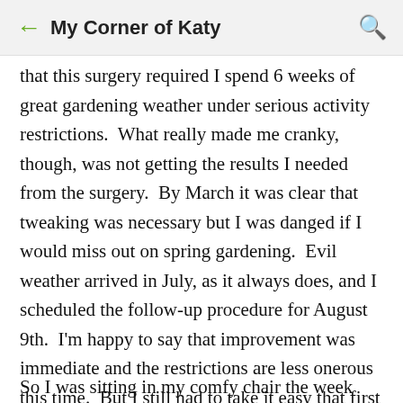My Corner of Katy
that this surgery required I spend 6 weeks of great gardening weather under serious activity restrictions.  What really made me cranky, though, was not getting the results I needed from the surgery.  By March it was clear that tweaking was necessary but I was danged if I would miss out on spring gardening.  Evil weather arrived in July, as it always does, and I scheduled the follow-up procedure for August 9th.  I'm happy to say that improvement was immediate and the restrictions are less onerous this time.  But I still had to take it easy that first week.
So I was sitting in my comfy chair the week after